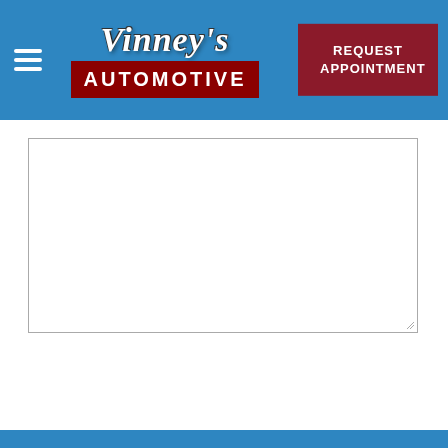[Figure (logo): Vinney's Automotive logo with script text 'Vinney's' in white italic on blue background, and 'AUTOMOTIVE' in white bold text on dark red/maroon rectangular box]
[Figure (other): Hamburger menu icon — three horizontal white lines on the left side of the blue header]
[Figure (other): REQUEST APPOINTMENT button in dark red/maroon on the right of the blue header bar]
[Figure (other): Empty white textarea input box with border and resize handle in bottom-right corner]
[Figure (other): Partial blue bar visible at the very bottom of the page]